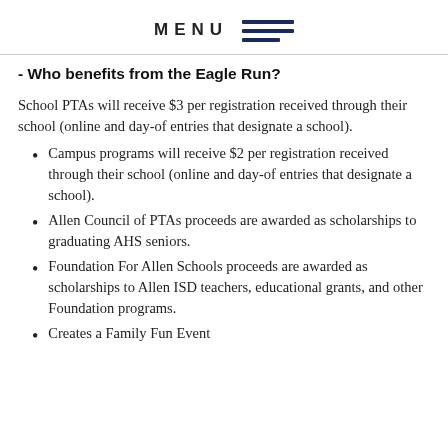MENU
- Who benefits from the Eagle Run?
School PTAs will receive $3 per registration received through their school (online and day-of entries that designate a school).
Campus programs will receive $2 per registration received through their school (online and day-of entries that designate a school).
Allen Council of PTAs proceeds are awarded as scholarships to graduating AHS seniors.
Foundation For Allen Schools proceeds are awarded as scholarships to Allen ISD teachers, educational grants, and other Foundation programs.
Creates a Family Fun Event